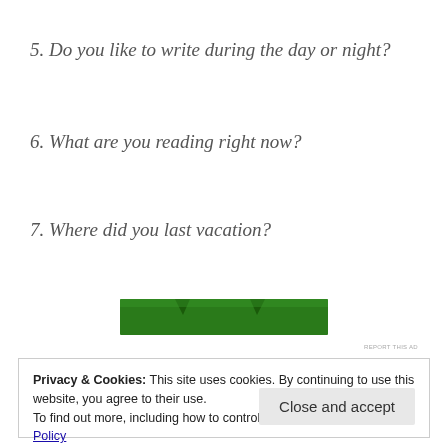5. Do you like to write during the day or night?
6. What are you reading right now?
7. Where did you last vacation?
[Figure (other): Green banner advertisement placeholder]
Privacy & Cookies: This site uses cookies. By continuing to use this website, you agree to their use.
To find out more, including how to control cookies, see here: Cookie Policy
Close and accept